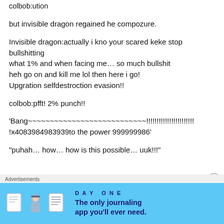colbob:ution
but invisible dragon regained he compozure.
Invisible dragon:actually i kno your scared keke stop bullshitting
what 1% and when facing me… so much bullshit
heh go on and kill me lol then here i go!
Upgration selfdestroction evasion!!
colbob:pfft! 2% punch!!
'Bang~~~~~~~~~~~~~~~~~~~~~~~~~~~!!!!!!!!!!!!!!!!!!!!!!!!
!x4083984983939to the power 999999986'
“puhah… how… how is this possible… uuk!!!”
Advertisements
[Figure (infographic): Day One journaling app advertisement banner with blue background, app icon characters, and tagline 'The only journaling app you'll ever need.']